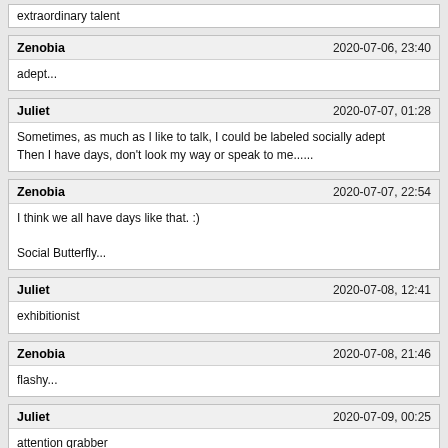extraordinary talent
Zenobia  2020-07-06, 23:40
adept...
Juliet  2020-07-07, 01:28
Sometimes, as much as I like to talk, I could be labeled socially adept
Then I have days, don't look my way or speak to me......
Zenobia  2020-07-07, 22:54
I think we all have days like that. :)

Social Butterfly...
Juliet  2020-07-08, 12:41
exhibitionist
Zenobia  2020-07-08, 21:46
flashy...
Juliet  2020-07-09, 00:25
attention grabber